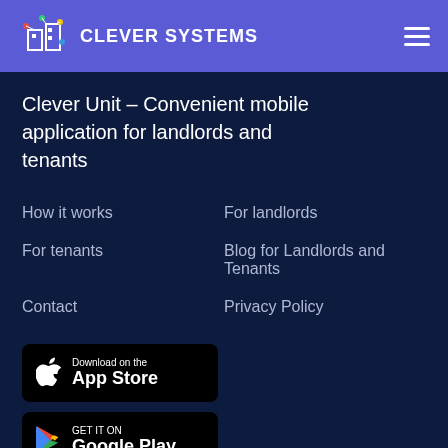CLEVER SYSTEMS
Clever Unit – Convenient mobile application for landlords and tenants
How it works
For landlords
For tenants
Blog for Landlords and Tenants
Contact
Privacy Policy
[Figure (logo): Download on the App Store badge]
[Figure (logo): Get it on Google Play badge]